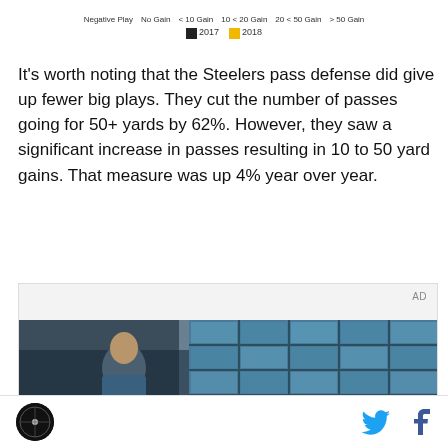Negative Play  No Gain  < 10 Gain  10 < 20 Gain  20 < 50 Gain  > 50 Gain   ■ 2017  ■ 2018
It's worth noting that the Steelers pass defense did give up fewer big plays. They cut the number of passes going for 50+ yards by 62%. However, they saw a significant increase in passes resulting in 10 to 50 yard gains. That measure was up 4% year over year.
[Figure (photo): Advertisement box with 'AD' label and a photo of a young man in a blue jacket against a building with large windows/grid facade]